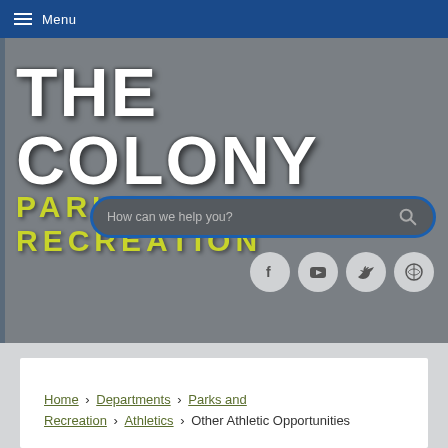Menu
[Figure (logo): The Colony Parks & Recreation logo — 'THE COLONY' in large white bold text with 'PARKS & RECREATION' in yellow-green bold text below, on a gray background]
[Figure (screenshot): Search bar with placeholder 'How can we help you?' and a search icon, styled with dark background and blue border]
[Figure (infographic): Four social media icon buttons (Facebook, YouTube, Twitter, WordPress) as gray circles]
Home › Departments › Parks and Recreation › Athletics › Other Athletic Opportunities